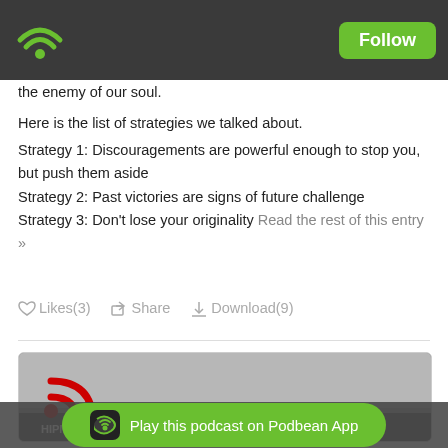[Figure (screenshot): Podbean app screenshot showing podcast page with green wifi logo and Follow button in dark top bar]
the enemy of our soul.
Here is the list of strategies we talked about.
Strategy 1: Discouragements are powerful enough to stop you, but push them aside
Strategy 2: Past victories are signs of future challenge
Strategy 3: Don't lose your originality Read the rest of this entry »
Likes(3)  Share  Download(9)
[Figure (photo): HIPM podcast cover image with red RSS icon, crowd of people in background, partially visible]
Play this podcast on Podbean App